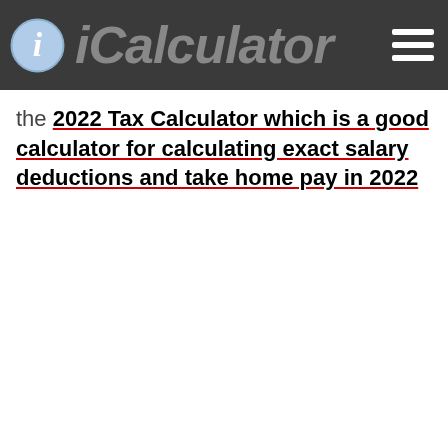iCalculator
the 2022 Tax Calculator which is a good calculator for calculating exact salary deductions and take home pay in 2022